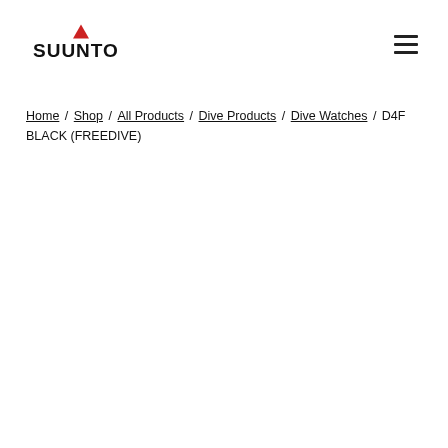Suunto logo and navigation menu
Home / Shop / All Products / Dive Products / Dive Watches / D4F BLACK (FREEDIVE)